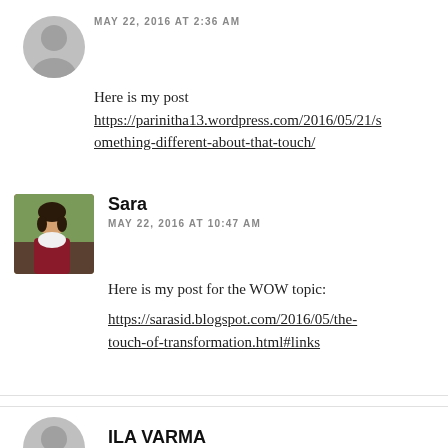MAY 22, 2016 AT 2:36 AM
Here is my post https://parinitha13.wordpress.com/2016/05/21/something-different-about-that-touch/
Sara
MAY 22, 2016 AT 10:47 AM
Here is my post for the WOW topic:
https://sarasid.blogspot.com/2016/05/the-touch-of-transformation.html#links
ILA VARMA